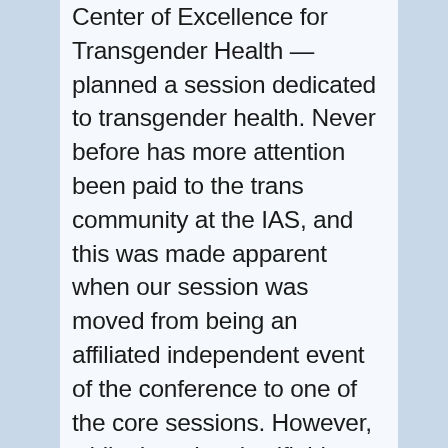Center of Excellence for Transgender Health — planned a session dedicated to transgender health. Never before has more attention been paid to the trans community at the IAS, and this was made apparent when our session was moved from being an affiliated independent event of the conference to one of the core sessions. However, while there has justifiably been much celebration recently on advancements in the transgender community, just a week before the IAS conference two trans